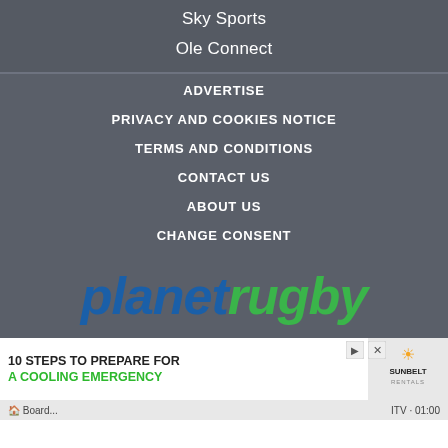Sky Sports
Ole Connect
ADVERTISE
PRIVACY AND COOKIES NOTICE
TERMS AND CONDITIONS
CONTACT US
ABOUT US
CHANGE CONSENT
[Figure (logo): Planet Rugby logo in large italic text, 'planet' in blue and 'rugby' in green]
[Figure (screenshot): Advertisement banner: '10 STEPS TO PREPARE FOR A COOLING EMERGENCY' with Sunbelt Rentals logo and a worker in safety gear]